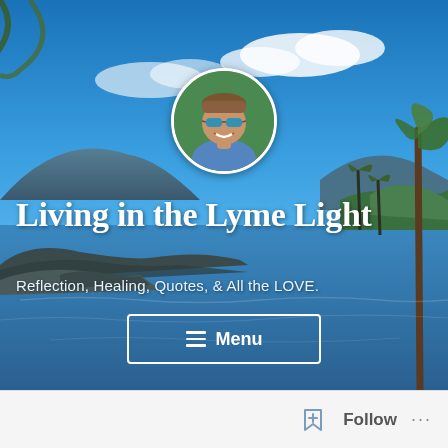[Figure (photo): Blog header banner with tropical beach scene: blue sky, mountains, palm trees, ocean shoreline. Circular profile photo of a smiling man wearing sunglasses and a blue shirt.]
Living in the Lyme Light
Reflection, Healing, Quotes, & All the LOVE.
≡ Menu
[Figure (logo): Follow button with a bookmark-plus icon and three dots menu in a light grey footer bar]